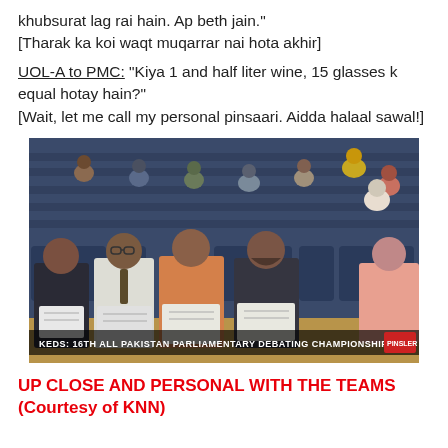khubsurat lag rai hain. Ap beth jain."
[Tharak ka koi waqt muqarrar nai hota akhir]
UOL-A to PMC: "Kiya 1 and half liter wine, 15 glasses k equal hotay hain?"
[Wait, let me call my personal pinsaari. Aidda halaal sawal!]
[Figure (photo): Audience seated in an auditorium, several men in the foreground writing on paper. Banner at bottom reads: KEDS: 16TH ALL PAKISTAN PARLIAMENTARY DEBATING CHAMPIONSHIP 2015]
UP CLOSE AND PERSONAL WITH THE TEAMS
(Courtesy of KNN)